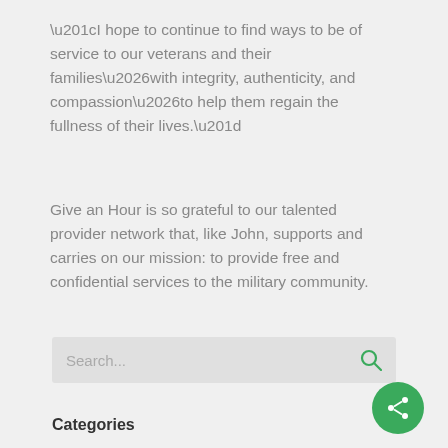“I hope to continue to find ways to be of service to our veterans and their families…with integrity, authenticity, and compassion…to help them regain the fullness of their lives.”
Give an Hour is so grateful to our talented provider network that, like John, supports and carries on our mission: to provide free and confidential services to the military community.
Search...
Categories